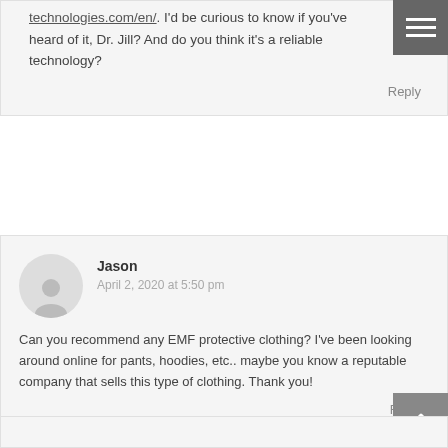technologies.com/en/. I'd be curious to know if you've heard of it, Dr. Jill? And do you think it's a reliable technology?
Reply
Jason
April 2, 2020 at 5:50 pm
Can you recommend any EMF protective clothing? I've been looking around online for pants, hoodies, etc.. maybe you know a reputable company that sells this type of clothing. Thank you!
Reply